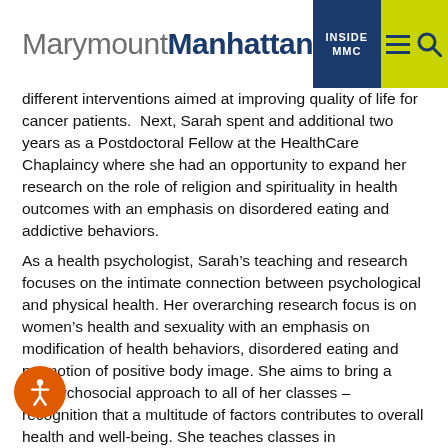MarymountManhattan | INSIDE MMC
different interventions aimed at improving quality of life for cancer patients. Next, Sarah spent and additional two years as a Postdoctoral Fellow at the HealthCare Chaplaincy where she had an opportunity to expand her research on the role of religion and spirituality in health outcomes with an emphasis on disordered eating and addictive behaviors.
As a health psychologist, Sarah's teaching and research focuses on the intimate connection between psychological and physical health. Her overarching research focus is on women's health and sexuality with an emphasis on modification of health behaviors, disordered eating and promotion of positive body image. She aims to bring a biopsychosocial approach to all of her classes – recognition that a multitude of factors contributes to overall health and well-being. She teaches classes in the [cut off] Psychology, Health Psychology, Statistics...